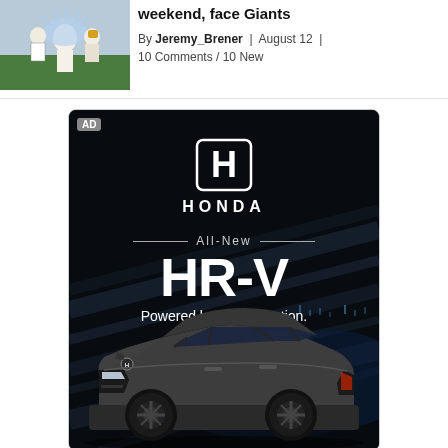[Figure (photo): Baseball game action photo — player being doused with water or ice bucket by teammates on field]
weekend, face Giants
By Jeremy_Brener | August 12 | 10 Comments / 10 New
[Figure (photo): Honda HR-V advertisement on dark background. Honda logo at top, text 'All-New HR-V Powered by determination.' with a gray Honda HR-V SUV shown at the bottom.]